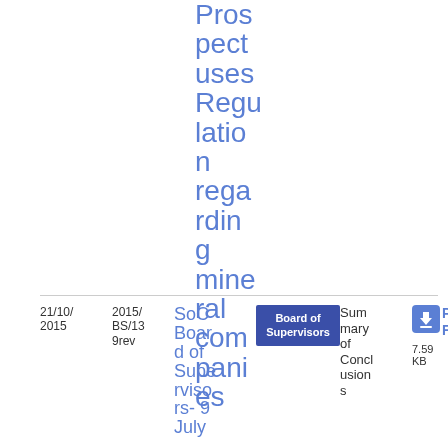Prospectuses Regulation regarding mineral companies
| Date | Ref | Title | Author | Type | PDF |
| --- | --- | --- | --- | --- | --- |
| 21/10/2015 | 2015/BS/139rev | SoC Board of Supervisors- 9 July | Board of Supervisors | Summary of Conclusions | PDF 7.59 KB 14 |